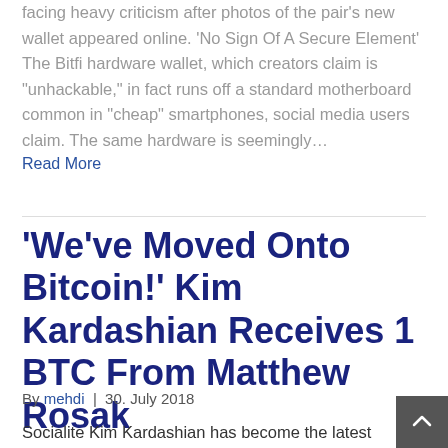facing heavy criticism after photos of the pair's new wallet appeared online. 'No Sign Of A Secure Element' The Bitfi hardware wallet, which creators claim is "unhackable," in fact runs off a standard motherboard common in "cheap" smartphones, social media users claim. The same hardware is seemingly…
Read More
'We've Moved Onto Bitcoin!' Kim Kardashian Receives 1 BTC From Matthew Rosak
By mehdi | 30. July 2018
Socialite Kim Kardashian has become the latest famous Kim to own Bitcoin – while attending an international poker tournament. First Bitcoin, Then 'KardashianCoin'? Kardashian, who follows in